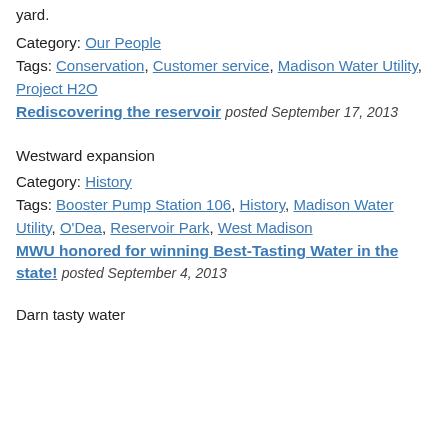yard.
Category: Our People
Tags: Conservation, Customer service, Madison Water Utility, Project H2O
Rediscovering the reservoir posted September 17, 2013
Westward expansion
Category: History
Tags: Booster Pump Station 106, History, Madison Water Utility, O'Dea, Reservoir Park, West Madison
MWU honored for winning Best-Tasting Water in the state! posted September 4, 2013
Darn tasty water